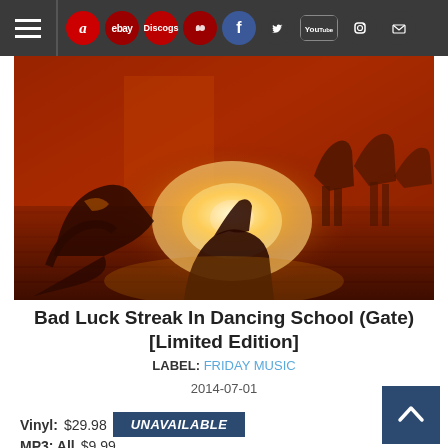Navigation bar with hamburger menu and social/store icons: Amazon, eBay, Discogs, Last.fm, Facebook, Twitter, YouTube, Instagram, Mail
[Figure (photo): Dancers in a dance studio with warm orange/red lighting. Dancers are seated or stretching on a wooden floor with a bright light source in the background.]
Bad Luck Streak In Dancing School (Gate) [Limited Edition]
LABEL: FRIDAY MUSIC
2014-07-01
Vinyl: $29.98  UNAVAILABLE
MP3: All  $9.99